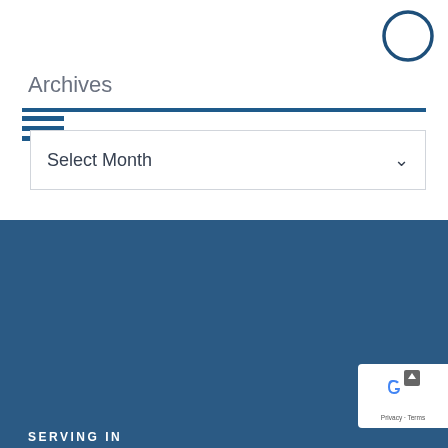[Figure (illustration): Accessibility icon — circular dark blue border with a white stick figure person in the center]
Archives
[Figure (illustration): Hamburger menu icon with three horizontal dark blue bars]
Select Month
BACK TO TOP
Home   Firm Overview   Attorneys
Practice Areas   Resources   Blog
Contact Us
SERVING IN
[Figure (logo): Google reCAPTCHA badge with privacy and terms text, and scroll-to-top arrow button]